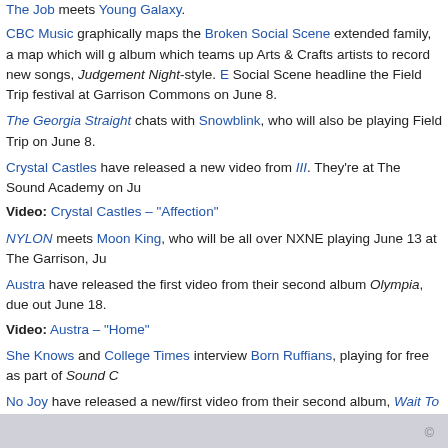The Job meets Young Galaxy.
CBC Music graphically maps the Broken Social Scene extended family, a map which will g album which teams up Arts & Crafts artists to record new songs, Judgement Night-style. E Social Scene headline the Field Trip festival at Garrison Commons on June 8.
The Georgia Straight chats with Snowblink, who will also be playing Field Trip on June 8.
Crystal Castles have released a new video from III. They're at The Sound Academy on Ju
Video: Crystal Castles – "Affection"
NYLON meets Moon King, who will be all over NXNE playing June 13 at The Garrison, Ju
Austra have released the first video from their second album Olympia, due out June 18.
Video: Austra – "Home"
She Knows and College Times interview Born Ruffians, playing for free as part of Sound C
No Joy have released a new/first video from their second album, Wait To Pleasure.
Video: No Joy – "Hare Tarot Lies"
For her visit to The AV Club's Undercover studio, Basia Bulat takes a swing at Bruce Sprin
Tags: Arcade Fire, Austra, Basia Bulat, Born Ruffians, Broken Social Scene, Colin Stetson Fang, Jim Guthrie, Majical Cloudz, Moon King, No Joy, Sadies, Sarah Neufeld, Sloan, Sno
Posted in General | 4 Comments »
« Older Entries